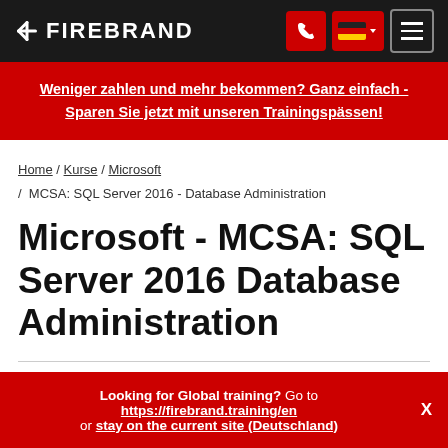FIREBRAND
Weniger zahlen und mehr bekommen? Ganz einfach - Sparen Sie jetzt mit unseren Trainingspässen!
Home / Kurse / Microsoft / MCSA: SQL Server 2016 - Database Administration
Microsoft - MCSA: SQL Server 2016 Database Administration
Looking for Global training? Go to https://firebrand.training/en or stay on the current site (Deutschland)